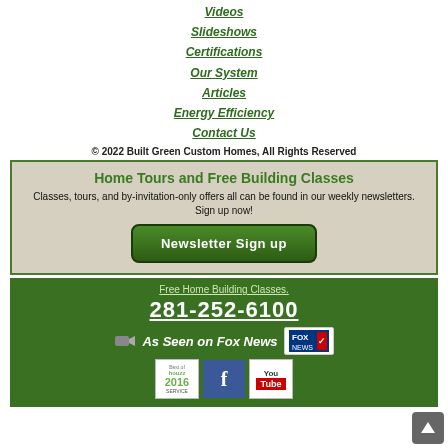Videos
Slideshows
Certifications
Our System
Articles
Energy Efficiency
Contact Us
© 2022 Built Green Custom Homes, All Rights Reserved
Home Tours and Free Building Classes
Classes, tours, and by-invitation-only offers all can be found in our weekly newsletters. Sign up now!
Newsletter Sign up
Free Home Building Classes.
281-252-6100
As Seen on Fox News